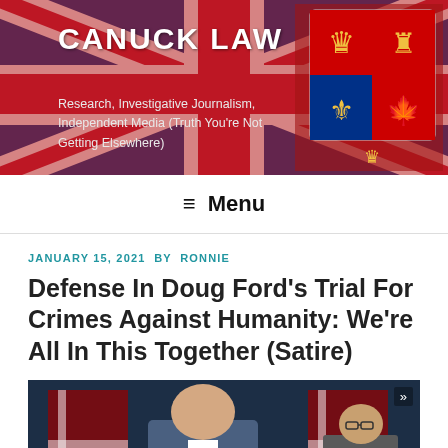CANUCK LAW — Research, Investigative Journalism, Independent Media (Truth You're Not Getting Elsewhere)
≡ Menu
JANUARY 15, 2021 BY RONNIE
Defense In Doug Ford's Trial For Crimes Against Humanity: We're All In This Together (Satire)
[Figure (photo): Photo of Doug Ford at a press conference with Ontario flags in the background, another person visible to the right]